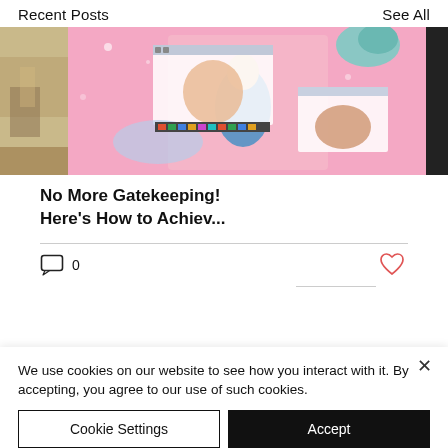Recent Posts    See All
[Figure (photo): Three-image collage: left partial warm-toned indoor photo, center K-pop style beauty collage on pink background with Photoshop windows and a woman in blue dress, right partial dark image.]
No More Gatekeeping! Here's How to Achiev...
0
We use cookies on our website to see how you interact with it. By accepting, you agree to our use of such cookies.
Cookie Settings
Accept